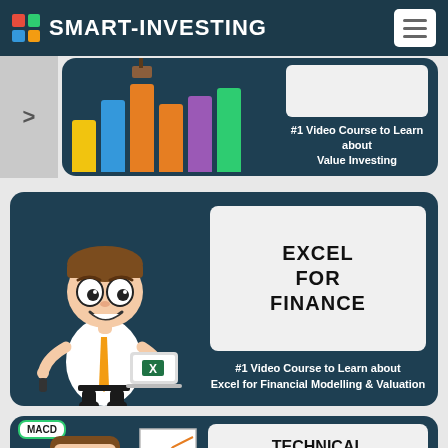SMART-INVESTING
[Figure (illustration): Card with colorful bar chart illustration and text '#1 Video Course to Learn about Value Investing']
#1 Video Course to Learn about Value Investing
[Figure (illustration): Card showing cartoon character holding laptop with Excel logo, white box labeled EXCEL FOR FINANCE, and text '#1 Video Course to Learn about Excel for Financial Modelling & Valuation']
#1 Video Course to Learn about Excel for Financial Modelling & Valuation
[Figure (illustration): Partially visible card with cartoon character and MACD label, and white box with text TECHNICAL ANALYSIS]